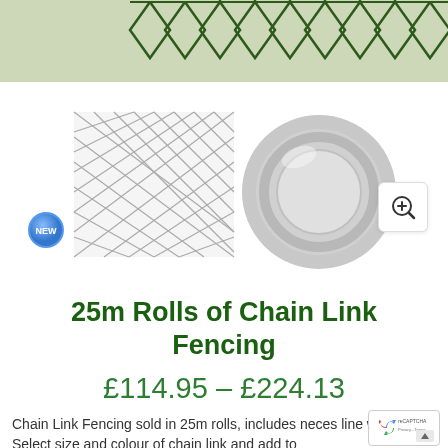[Figure (illustration): Green chain link fencing decorative banner at top of page with diamond mesh pattern in dark green on sage green background]
[Figure (photo): Product image showing a flat piece of chain link fencing mesh (left) and a coiled roll of galvanized wire (right), with a blue 'NEW' badge in top-left corner. Zoom magnifier button in top-right corner.]
25m Rolls of Chain Link Fencing
£114.95 – £224.13
Chain Link Fencing sold in 25m rolls, includes neces­ line wire. Select size and colour of chain link and add to